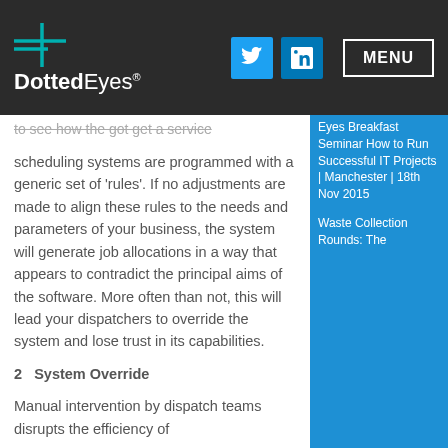[Figure (logo): DottedEyes logo with cross/plus icon on dark background header]
scheduling systems are programmed with a generic set of 'rules'. If no adjustments are made to align these rules to the needs and parameters of your business, the system will generate job allocations in a way that appears to contradict the principal aims of the software. More often than not, this will lead your dispatchers to override the system and lose trust in its capabilities.
2   System Override
Manual intervention by dispatch teams disrupts the efficiency of
Eyes Breakfast Seminar How to Run Successful IT Projects | Manchester | 18th Nov 2015

Waste Collection Rounds: The